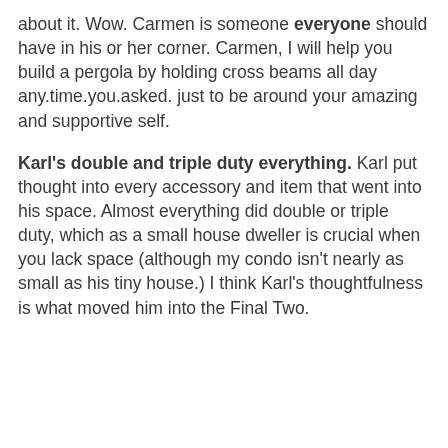about it. Wow. Carmen is someone everyone should have in his or her corner. Carmen, I will help you build a pergola by holding cross beams all day any.time.you.asked. just to be around your amazing and supportive self.
Karl's double and triple duty everything. Karl put thought into every accessory and item that went into his space. Almost everything did double or triple duty, which as a small house dweller is crucial when you lack space (although my condo isn't nearly as small as his tiny house.) I think Karl's thoughtfulness is what moved him into the Final Two.